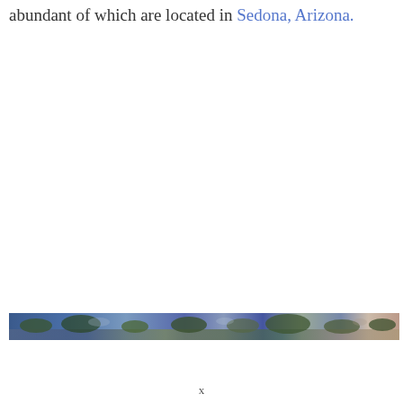abundant of which are located in Sedona, Arizona.
[Figure (photo): A narrow horizontal photo strip showing a landscape scene with blue and green tones, trees and rock formations visible, very short in height.]
x